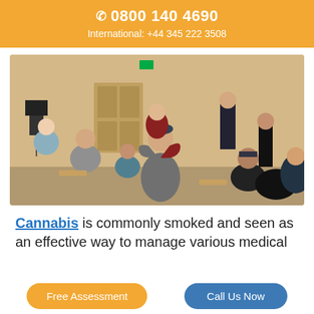☎ 0800 140 4690
International: +44 345 222 3508
[Figure (photo): Group of people in a hall, two individuals hugging in the center while others sit in chairs around them]
Cannabis is commonly smoked and seen as an effective way to manage various medical
Free Assessment
Call Us Now